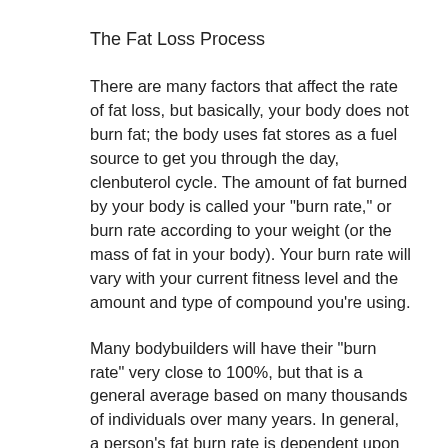The Fat Loss Process
There are many factors that affect the rate of fat loss, but basically, your body does not burn fat; the body uses fat stores as a fuel source to get you through the day, clenbuterol cycle. The amount of fat burned by your body is called your "burn rate," or burn rate according to your weight (or the mass of fat in your body). Your burn rate will vary with your current fitness level and the amount and type of compound you're using.
Many bodybuilders will have their "burn rate" very close to 100%, but that is a general average based on many thousands of individuals over many years. In general, a person's fat burn rate is dependent upon several factors, including nutrition, activity level, weight...